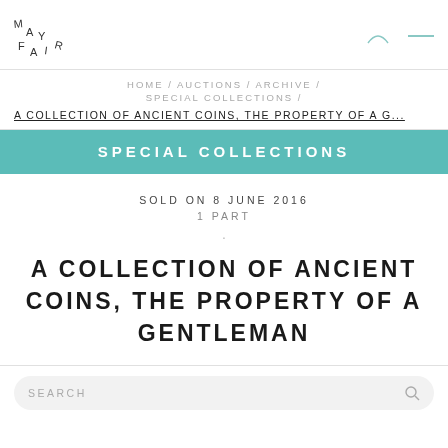MAYFAIR
HOME / AUCTIONS / ARCHIVE / SPECIAL COLLECTIONS /
A COLLECTION OF ANCIENT COINS, THE PROPERTY OF A G...
SPECIAL COLLECTIONS
SOLD ON 8 JUNE 2016
1 PART
A COLLECTION OF ANCIENT COINS, THE PROPERTY OF A GENTLEMAN
SEARCH